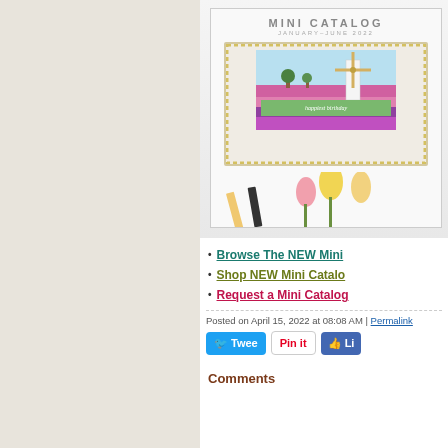[Figure (photo): Mini Catalog January-June 2022 cover showing a windmill birthday card with tulips, pencils, and spring flowers]
Browse The NEW Mini Catalog
Shop NEW Mini Catalog
Request a Mini Catalog
Posted on April 15, 2022 at 08:08 AM | Permalink
Tweet  Pin it  Like
Comments